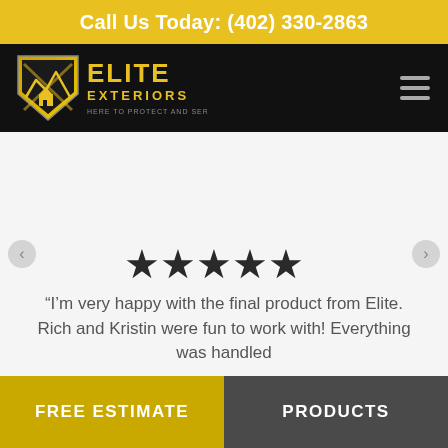Call Us Today: (402) 330-2863
[Figure (logo): Elite Exteriors shield logo with house and mountains, yellow and black, text 'HERE TO PROTECT AND SERVE']
[Figure (infographic): Five filled black stars rating]
“I’m very happy with the final product from Elite. Rich and Kristin were fun to work with! Everything was handled
FREE ESTIMATE
PRODUCTS